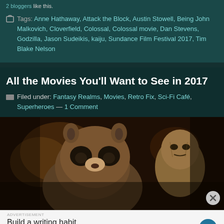2 bloggers like this.
Tags: Anne Hathaway, Attack the Block, Austin Stowell, Being John Malkovich, Cloverfield, Colossal, Colossal movie, Dan Stevens, Godzilla, Jason Sudeikis, kaiju, Sundance Film Festival 2017, Tim Blake Nelson
All the Movies You'll Want to See in 2017
Filed under: Fantasy Realms, Movies, Retro Fix, Sci-Fi Café, Superheroes — 1 Comment
[Figure (photo): Movie still showing Rocket Raccoon and Baby Groot characters, likely from Guardians of the Galaxy Vol. 2]
Build a writing habit. Post on the go. GET THE APP